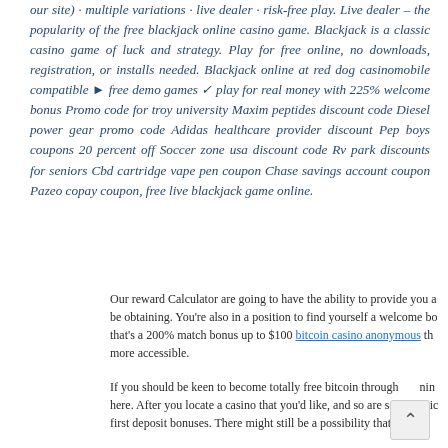our site) · multiple variations · live dealer · risk-free play. Live dealer – the popularity of the free blackjack online casino game. Blackjack is a classic casino game of luck and strategy. Play for free online, no downloads, registration, or installs needed. Blackjack online at red dog casinomobile compatible ► free demo games ✓ play for real money with 225% welcome bonus Promo code for troy university Maxim peptides discount code Diesel power gear promo code Adidas healthcare provider discount Pep boys coupons 20 percent off Soccer zone usa discount code Rv park discounts for seniors Cbd cartridge vape pen coupon Chase savings account coupon Pazeo copay coupon, free live blackjack game online.
Our reward Calculator are going to have the ability to provide you a be obtaining. You're also in a position to find yourself a welcome bo that's a 200% match bonus up to $100 bitcoin casino anonymous th more accessible.
If you should be keen to become totally free bitcoin through nin here. After you locate a casino that you'd like, and so are se fantastic first deposit bonuses. There might still be a possibility that